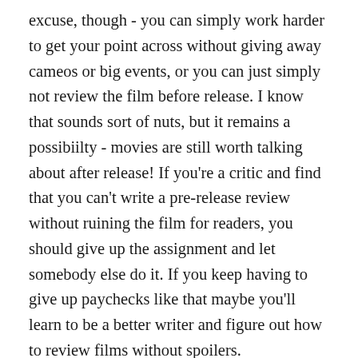excuse, though - you can simply work harder to get your point across without giving away cameos or big events, or you can just simply not review the film before release. I know that sounds sort of nuts, but it remains a possibiilty - movies are still worth talking about after release! If you're a critic and find that you can't write a pre-release review without ruining the film for readers, you should give up the assignment and let somebody else do it. If you keep having to give up paychecks like that maybe you'll learn to be a better writer and figure out how to review films without spoilers.
But I don't think these reviewers care. There's almost an anger in these reviews, and the spoiling seems